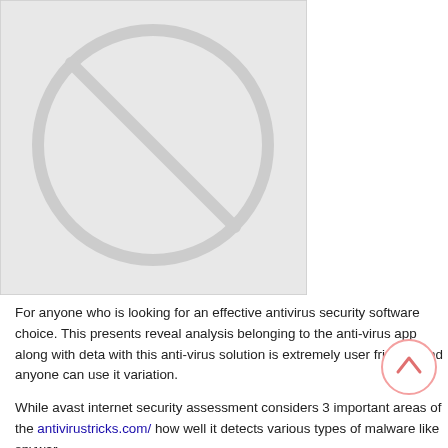[Figure (illustration): Placeholder image with light gray background and a no-entry/blocked symbol (circle with a diagonal line through it) in a slightly darker gray, inside a thin bordered rectangle.]
For anyone who is looking for an effective antivirus security software choice. This presents reveal analysis belonging to the anti-virus app along with details with this anti-virus solution is extremely user friendly and anyone can use it variation.
While avast internet security assessment considers 3 important areas of the antivirustricks.com/ how well it detects various types of malware like spywar